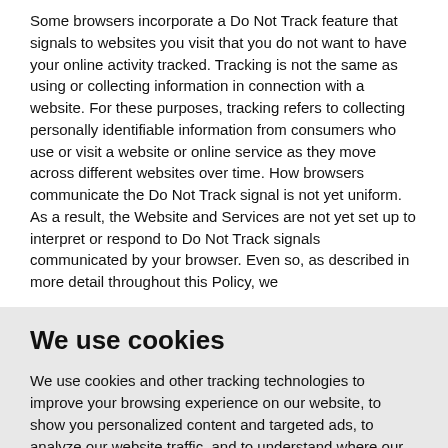Some browsers incorporate a Do Not Track feature that signals to websites you visit that you do not want to have your online activity tracked. Tracking is not the same as using or collecting information in connection with a website. For these purposes, tracking refers to collecting personally identifiable information from consumers who use or visit a website or online service as they move across different websites over time. How browsers communicate the Do Not Track signal is not yet uniform. As a result, the Website and Services are not yet set up to interpret or respond to Do Not Track signals communicated by your browser. Even so, as described in more detail throughout this Policy, we
We use cookies
We use cookies and other tracking technologies to improve your browsing experience on our website, to show you personalized content and targeted ads, to analyze our website traffic, and to understand where our visitors are coming from.